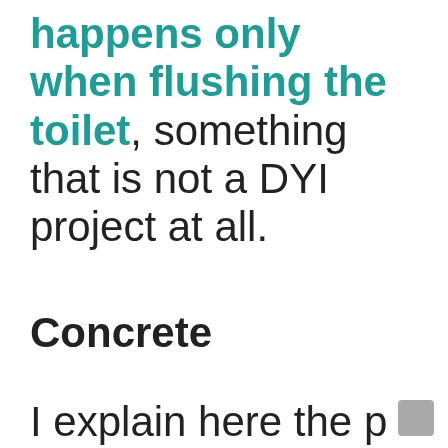happens only when flushing the toilet, something that is not a DYI project at all.
Concrete
I explain here the process...